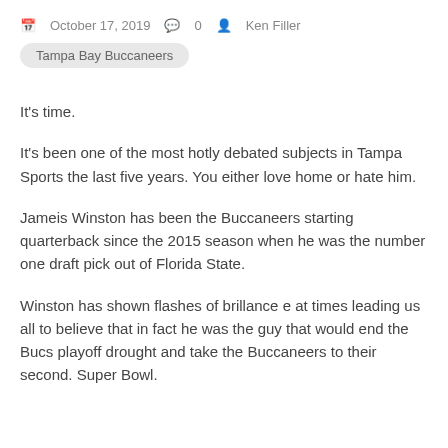October 17, 2019  0  Ken Filler
Tampa Bay Buccaneers
It's time.
It's been one of the most hotly debated subjects in Tampa Sports the last five years. You either love home or hate him.
Jameis Winston has been the Buccaneers starting quarterback since the 2015 season when he was the number one draft pick out of Florida State.
Winston has shown flashes of brillance e at times leading us all to believe that in fact he was the guy that would end the Bucs playoff drought and take the Buccaneers to their second. Super Bowl.